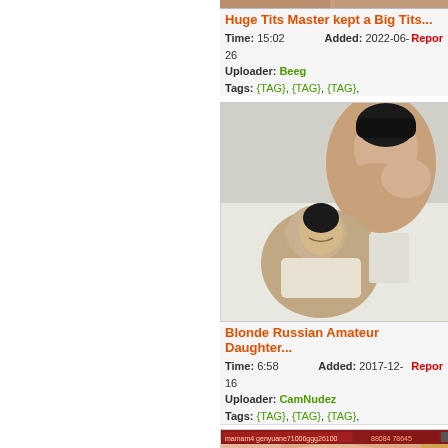[Figure (photo): Partial thumbnail of video 1 cropped at top]
Huge Tits Master kept a Big Tits...
Time: 15:02   Added: 2022-06-26
Uploader: Beeg   Report
Tags: {TAG}, {TAG}, {TAG},
[Figure (photo): Thumbnail showing two people embracing]
Blonde Russian Amateur Daughter...
Time: 6:58   Added: 2017-12-16
Uploader: CamNudez   Report
Tags: {TAG}, {TAG}, {TAG},
[Figure (photo): Partial thumbnail of third video with interface bar at top]